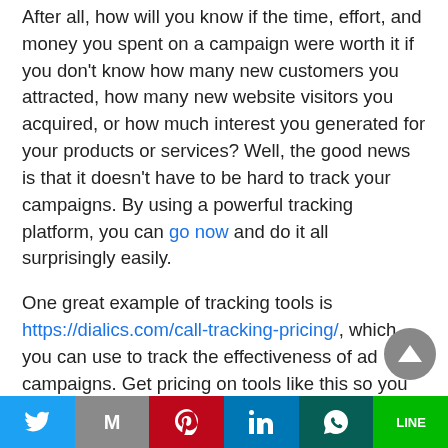After all, how will you know if the time, effort, and money you spent on a campaign were worth it if you don't know how many new customers you attracted, how many new website visitors you acquired, or how much interest you generated for your products or services? Well, the good news is that it doesn't have to be hard to track your campaigns. By using a powerful tracking platform, you can go now and do it all surprisingly easily.
One great example of tracking tools is https://dialics.com/call-tracking-pricing/, which you can use to track the effectiveness of ad campaigns. Get pricing on tools like this so you
[Figure (other): Scroll-to-top circular button with upward triangle arrow, grey background]
[Figure (other): Social sharing bar with Twitter, Mail, Pinterest, LinkedIn, WhatsApp, and LINE buttons]